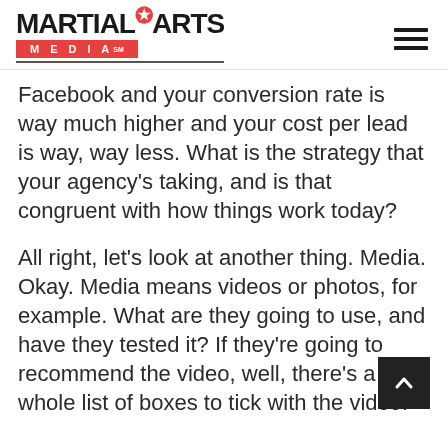MARTIAL ARTS MEDIA
Facebook and your conversion rate is way much higher and your cost per lead is way, way less. What is the strategy that your agency's taking, and is that congruent with how things work today?
All right, let's look at another thing. Media. Okay. Media means videos or photos, for example. What are they going to use, and have they tested it? If they're going to recommend the video, well, there's a whole list of boxes to tick with the video.